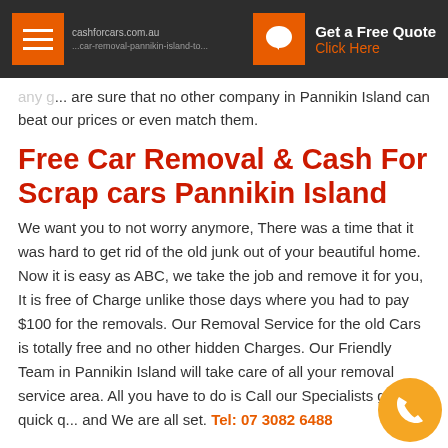Get a Free Quote — Click Here (navigation bar with hamburger menu)
are sure that no other company in Pannikin Island can beat our prices or even match them.
Free Car Removal & Cash For Scrap cars Pannikin Island
We want you to not worry anymore, There was a time that it was hard to get rid of the old junk out of your beautiful home. Now it is easy as ABC, we take the job and remove it for you, It is free of Charge unlike those days where you had to pay $100 for the removals. Our Removal Service for the old Cars is totally free and no other hidden Charges. Our Friendly Team in Pannikin Island will take care of all your removal service area. All you have to do is Call our Specialists get a quick q... and We are all set. Tel: 07 3082 6488